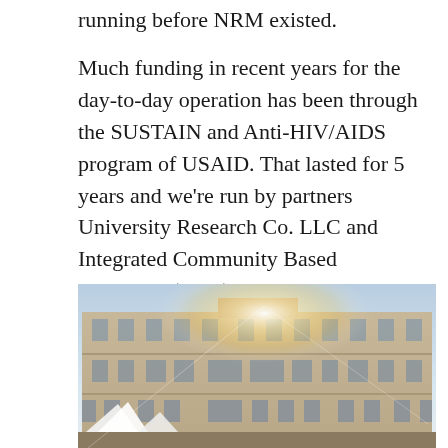running before NRM existed.
Much funding in recent years for the day-to-day operation has been through the SUSTAIN and Anti-HIV/AIDS program of USAID. That lasted for 5 years and we're run by partners University Research Co. LLC and Integrated Community Based Initiatives (ICBI). This lasted until June 2015.
[Figure (photo): Exterior photo of a large multi-story institutional building (likely a hospital) with many windows, taken in bright sunlight with a lens flare visible. White tent canopies are visible at the base of the building.]